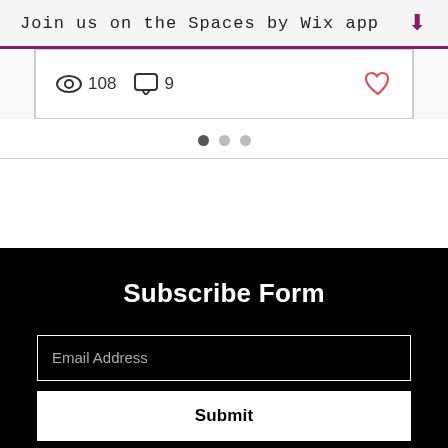Join us on the Spaces by Wix app ⬇
[Figure (screenshot): Post stats row showing eye icon with 108 views, comment bubble icon with 9 comments, and a heart icon (like button)]
[Figure (other): Carousel navigation dots: three dots, first one active (filled dark), next two lighter]
Subscribe Form
Email Address
Submit